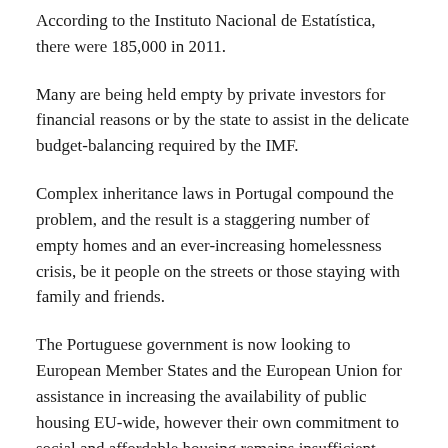According to the Instituto Nacional de Estatística, there were 185,000 in 2011.
Many are being held empty by private investors for financial reasons or by the state to assist in the delicate budget-balancing required by the IMF.
Complex inheritance laws in Portugal compound the problem, and the result is a staggering number of empty homes and an ever-increasing homelessness crisis, be it people on the streets or those staying with family and friends.
The Portuguese government is now looking to European Member States and the European Union for assistance in increasing the availability of public housing EU-wide, however their own commitment to social and affordable housing remains insufficient.